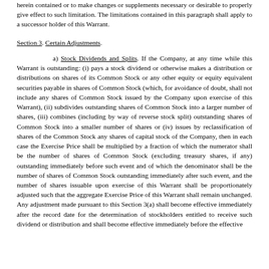herein contained or to make changes or supplements necessary or desirable to properly give effect to such limitation. The limitations contained in this paragraph shall apply to a successor holder of this Warrant.
Section 3. Certain Adjustments.
a) Stock Dividends and Splits. If the Company, at any time while this Warrant is outstanding: (i) pays a stock dividend or otherwise makes a distribution or distributions on shares of its Common Stock or any other equity or equity equivalent securities payable in shares of Common Stock (which, for avoidance of doubt, shall not include any shares of Common Stock issued by the Company upon exercise of this Warrant), (ii) subdivides outstanding shares of Common Stock into a larger number of shares, (iii) combines (including by way of reverse stock split) outstanding shares of Common Stock into a smaller number of shares or (iv) issues by reclassification of shares of the Common Stock any shares of capital stock of the Company, then in each case the Exercise Price shall be multiplied by a fraction of which the numerator shall be the number of shares of Common Stock (excluding treasury shares, if any) outstanding immediately before such event and of which the denominator shall be the number of shares of Common Stock outstanding immediately after such event, and the number of shares issuable upon exercise of this Warrant shall be proportionately adjusted such that the aggregate Exercise Price of this Warrant shall remain unchanged. Any adjustment made pursuant to this Section 3(a) shall become effective immediately after the record date for the determination of stockholders entitled to receive such dividend or distribution and shall become effective immediately before the effective